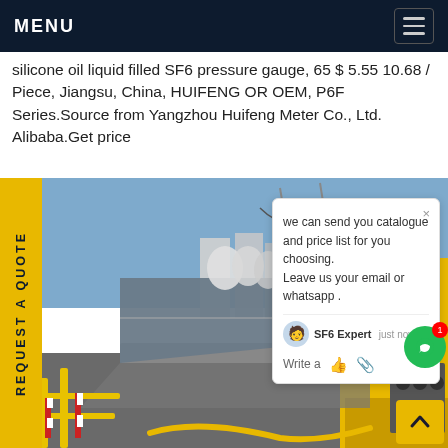MENU
silicone oil liquid filled SF6 pressure gauge, 65 $ 5.55 10.68 / Piece, Jiangsu, China, HUIFENG OR OEM, P6F Series.Source from Yangzhou Huifeng Meter Co., Ltd. Alibaba.Get price
[Figure (photo): Industrial electrical substation with yellow service vehicle, SF6 equipment, and high-voltage infrastructure under a clear sky]
we can send you catalogue and price list for you choosing. Leave us your email or whatsapp .
SF6 Expert    just now
Write a